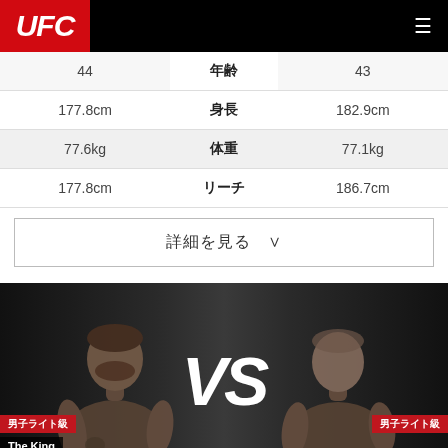UFC
|  | 年齢 / 身長 / 体重 / リーチ |  |
| --- | --- | --- |
| 44 | 年齢 | 43 |
| 177.8cm | 身長 | 182.9cm |
| 77.6kg | 体重 | 77.1kg |
| 177.8cm | リーチ | 186.7cm |
詳細を見る ∨
[Figure (photo): UFC fighter matchup: Spencer Fisher (The King, 男子ライト級) vs Aaron Riley (男子ライト級) with large VS text in center on dark background]
| Spencer Fisher | VS | Aaron Riley |
| --- | --- | --- |
| USA | COUNTRY | USA |